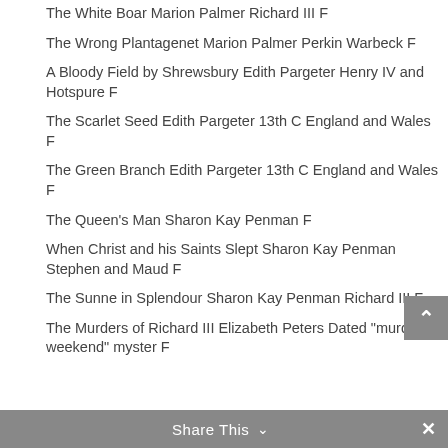The White Boar Marion Palmer Richard III F
The Wrong Plantagenet Marion Palmer Perkin Warbeck F
A Bloody Field by Shrewsbury Edith Pargeter Henry IV and Hotspure F
The Scarlet Seed Edith Pargeter 13th C England and Wales F
The Green Branch Edith Pargeter 13th C England and Wales F
The Queen's Man Sharon Kay Penman F
When Christ and his Saints Slept Sharon Kay Penman Stephen and Maud F
The Sunne in Splendour Sharon Kay Penman Richard III F
The Murders of Richard III Elizabeth Peters Dated "murder-weekend" myster F
Share This ∨  ✕